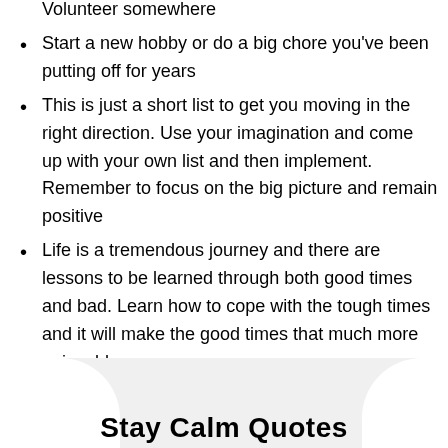Start a new hobby or do a big chore you've been putting off for years
This is just a short list to get you moving in the right direction. Use your imagination and come up with your own list and then implement. Remember to focus on the big picture and remain positive
Life is a tremendous journey and there are lessons to be learned through both good times and bad. Learn how to cope with the tough times and it will make the good times that much more enjoyable
Stay calm and carry on.
Stay Calm Quotes